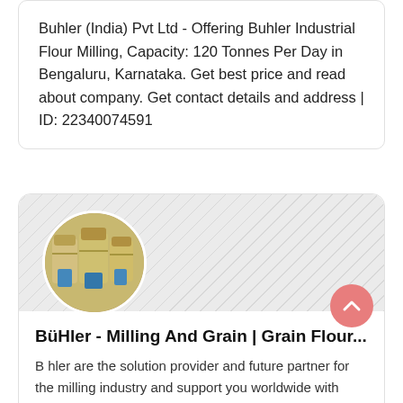Buhler (India) Pvt Ltd - Offering Buhler Industrial Flour Milling, Capacity: 120 Tonnes Per Day in Bengaluru, Karnataka. Get best price and read about company. Get contact details and address | ID: 22340074591
[Figure (photo): Card with a diagonal hatched background and a circular photo of industrial flour milling machinery (yellow/cream colored machines on blue bases), with a pink scroll-to-top button in the bottom right.]
B&#252;Hler - Milling And Grain | Grain Flour...
B hler are the solution provider and future partner for the milling industry and support you worldwide with comprehensive process solutions and services. B hler